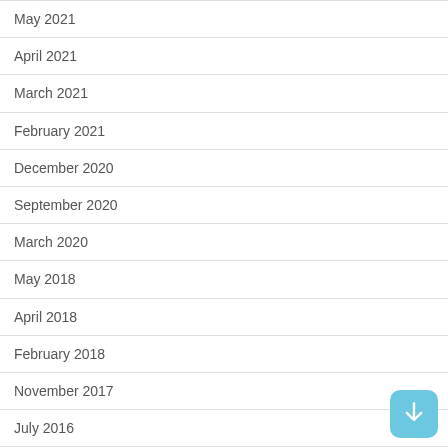May 2021
April 2021
March 2021
February 2021
December 2020
September 2020
March 2020
May 2018
April 2018
February 2018
November 2017
July 2016
January 2016
November 2014